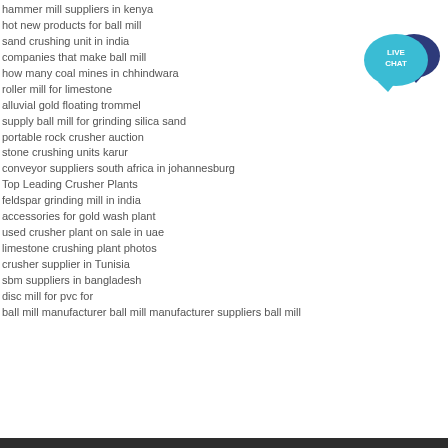hammer mill suppliers in kenya
hot new products for ball mill
sand crushing unit in india
companies that make ball mill
how many coal mines in chhindwara
roller mill for limestone
alluvial gold floating trommel
supply ball mill for grinding silica sand
portable rock crusher auction
stone crushing units karur
conveyor suppliers south africa in johannesburg
Top Leading Crusher Plants
feldspar grinding mill in india
accessories for gold wash plant
used crusher plant on sale in uae
limestone crushing plant photos
crusher supplier in Tunisia
sbm suppliers in bangladesh
disc mill for pvc for
ball mill manufacturer ball mill manufacturer suppliers ball mill
[Figure (logo): Live Chat widget with teal speech bubble containing 'LIVE CHAT' text and dark blue speech bubble behind it]